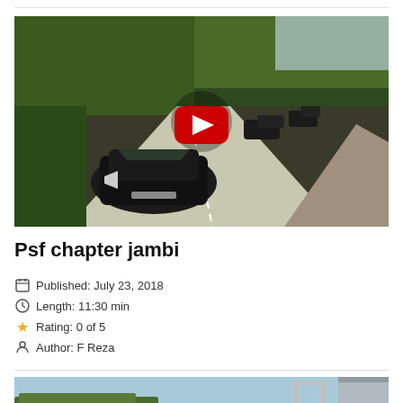[Figure (screenshot): Video thumbnail showing aerial view of black SUV cars driving on a road surrounded by trees, with a red YouTube play button in the center]
Psf chapter jambi
Published: July 23, 2018
Length: 11:30 min
Rating: 0 of 5
Author: F Reza
[Figure (screenshot): Partial thumbnail of another video showing a scene with water and a structure]